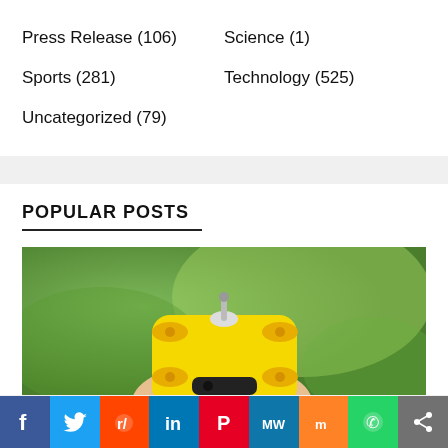Press Release (106)
Science (1)
Sports (281)
Technology (525)
Uncategorized (79)
POPULAR POSTS
[Figure (photo): A hand holding a yellow compact drone/camera device against a green blurred background]
f  Twitter  Reddit  in  Pinterest  MW  Mix  WhatsApp  Share